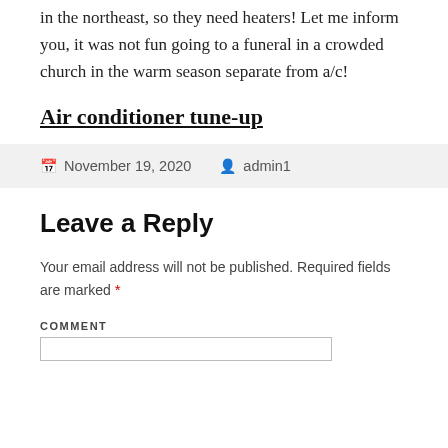in the northeast, so they need heaters! Let me inform you, it was not fun going to a funeral in a crowded church in the warm season separate from a/c!
Air conditioner tune-up
November 19, 2020  admin1
Leave a Reply
Your email address will not be published. Required fields are marked *
COMMENT